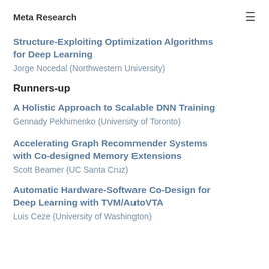Meta Research
Structure-Exploiting Optimization Algorithms for Deep Learning
Jorge Nocedal (Northwestern University)
Runners-up
A Holistic Approach to Scalable DNN Training
Gennady Pekhimenko (University of Toronto)
Accelerating Graph Recommender Systems with Co-designed Memory Extensions
Scott Beamer (UC Santa Cruz)
Automatic Hardware-Software Co-Design for Deep Learning with TVM/AutoVTA
Luis Ceze (University of Washington)